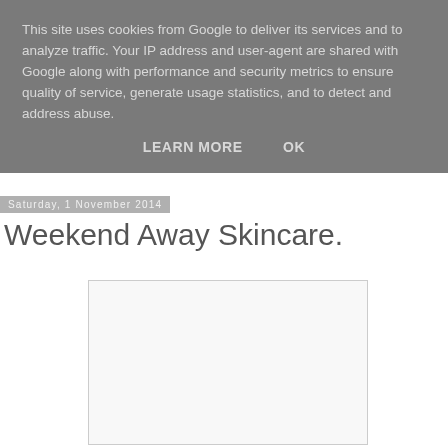This site uses cookies from Google to deliver its services and to analyze traffic. Your IP address and user-agent are shared with Google along with performance and security metrics to ensure quality of service, generate usage statistics, and to detect and address abuse.
LEARN MORE   OK
Saturday, 1 November 2014
Weekend Away Skincare.
[Figure (photo): Placeholder image area with light gray background and border]